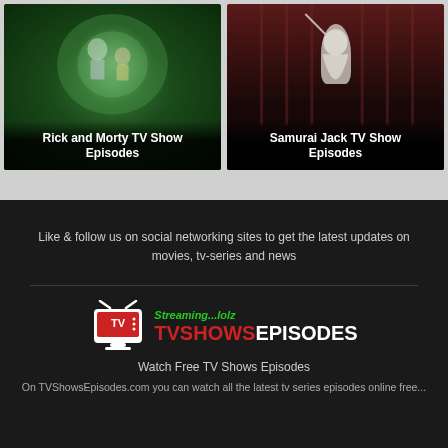[Figure (screenshot): Rick and Morty TV show card with animated characters on green background]
[Figure (screenshot): Samurai Jack TV show card with samurai figure on dark red background]
Like & follow us on social networking sites to get the latest updates on movies, tv-series and news
[Figure (logo): TVShowsEpisodes.com logo with TV icon, Streaming...lolz tagline, and brand name TV SHOWS EPISODES]
Watch Free TV Shows Episodes
On TVShowsEpisodes.com you can watch all the latest tv series episodes online free...